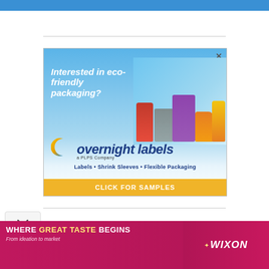[Figure (illustration): Blue top navigation bar of a website]
[Figure (illustration): Advertisement for Overnight Labels - eco-friendly packaging company. Blue gradient background with product images (bottles, snack packages). Text: 'Interested in eco-friendly packaging?' with Overnight Labels logo, tagline 'Labels • Shrink Sleeves • Flexible Packaging', and a gold CTA button 'CLICK FOR SAMPLES'.]
[Figure (illustration): Bottom banner advertisement for Wixon: 'WHERE GREAT TASTE BEGINS - From ideation to market' with food imagery and Wixon logo on right side.]